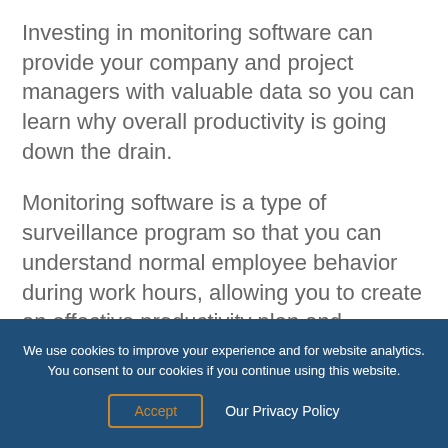Investing in monitoring software can provide your company and project managers with valuable data so you can learn why overall productivity is going down the drain.
Monitoring software is a type of surveillance program so that you can understand normal employee behavior during work hours, allowing you to create an effective productivity plan and determine what to do if employees are slacking off.
We use cookies to improve your experience and for website analytics. You consent to our cookies if you continue using this website.
Accept   Our Privacy Policy